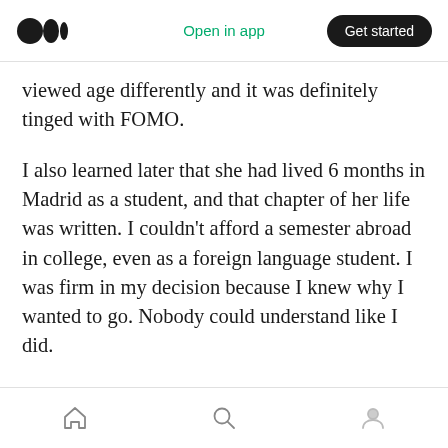Medium app header — Open in app | Get started
viewed age differently and it was definitely tinged with FOMO.
I also learned later that she had lived 6 months in Madrid as a student, and that chapter of her life was written. I couldn’t afford a semester abroad in college, even as a foreign language student. I was firm in my decision because I knew why I wanted to go. Nobody could understand like I did.
To plan makes it less likely for second hand fears to kick up some unnecessary dust in your path. Getting organized around the reason you want
Home | Search | Profile